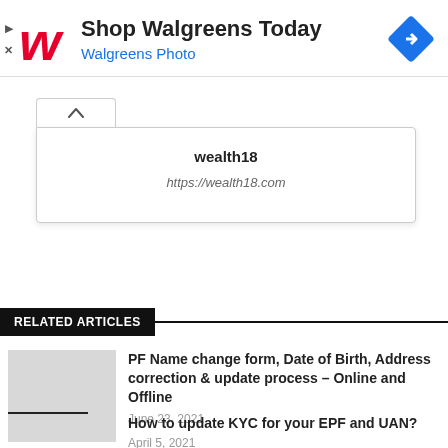[Figure (screenshot): Walgreens advertisement banner with red W logo, 'Shop Walgreens Today' title, 'Walgreens Photo' subtitle in blue, and a blue diamond navigation icon on the right.]
wealth18
https://wealth18.com
RELATED ARTICLES
PF Name change form, Date of Birth, Address correction & update process – Online and Offline
June 23, 2021
How to update KYC for your EPF and UAN?
April 5, 2021